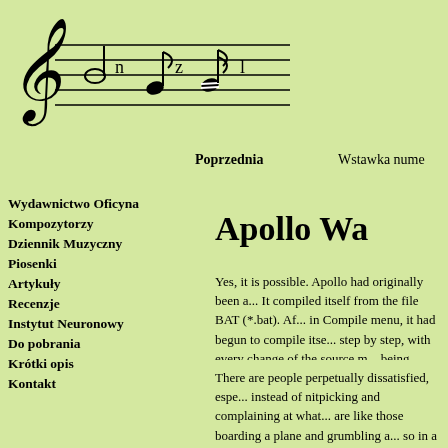[Figure (illustration): Musical staff with treble clef and notes (half note, quarter note, dotted note, etc.) on a light green background, labeled with letters n, z, l]
Poprzednia
Wstawka nume
Wydawnictwo Oficyna
Kompozytorzy
Dziennik Muzyczny
Piosenki
Artykuły
Recenzje
Instytut Neuronowy
Do pobrania
Krótki opis
Kontakt
Apollo Wa
Yes, it is possible. Apollo had originally been a... It compiled itself from the file BAT (*.bat). Af... in Compile menu, it had begun to compile itse... step by step, with every change of the source m... being constantly created. One can say that it gr... expanded and constantly improved.
There are people perpetually dissatisfied, espe... instead of nitpicking and complaining at what... are like those boarding a plane and grumbling a... so in a car. They could do so in a carriage, too...